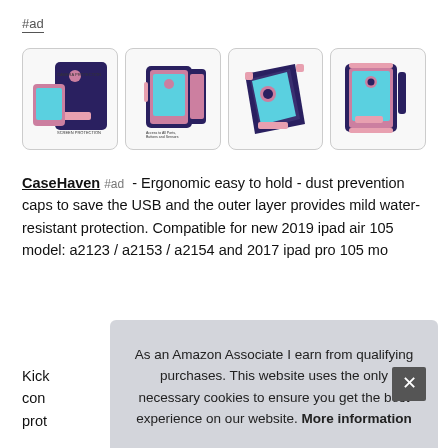#ad
[Figure (photo): Four product images of a navy blue and pink iPad case (CaseHaven brand) showing different angles and features including camera protection, screen protection, port access, and kickstand.]
CaseHaven #ad - Ergonomic easy to hold - dust prevention caps to save the USB and the outer layer provides mild water-resistant protection. Compatible for new 2019 ipad air 105 model: a2123 / a2153 / a2154 and 2017 ipad pro 105 mo...
Kick... con... prot...
As an Amazon Associate I earn from qualifying purchases. This website uses the only necessary cookies to ensure you get the best experience on our website. More information